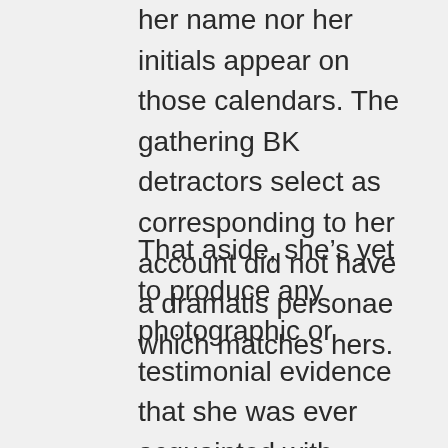her name nor her initials appear on those calendars. The gathering BK detractors select as corresponding to her account did not have a dramatis personae which matches hers.
That aside, she’s yet to produce any photographic or testimonial evidence that she was ever acquainted with Judge or Kavanaugh. There were at the time 500,000 people living in suburban tract development in Montgomery County, Maryland. She attended a girls’ school. BK has no sisters and Mark Judge’s sister was enrolled at a different school. Her brother Ralph was not